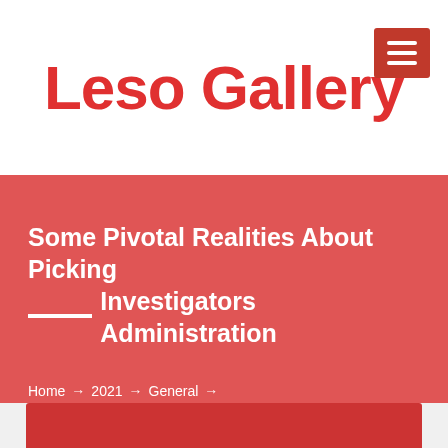Leso Gallery
Some Pivotal Realities About Picking _____ Investigators Administration
Home → 2021 → General → Some Pivotal Realities About Picking Investigators Administration
[Figure (screenshot): Partial view of a red card/banner at the bottom of the page, partially cut off]